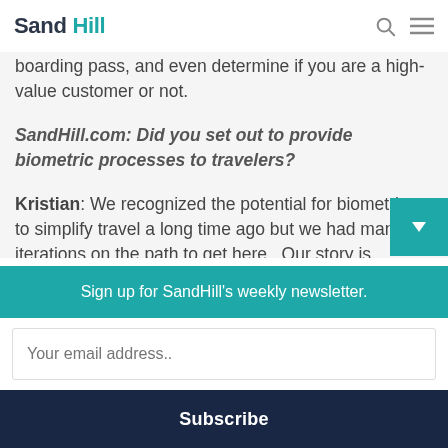Sand Hill
boarding pass, and even determine if you are a high-value customer or not.
SandHill.com: Did you set out to provide biometric processes to travelers?
Kristian: We recognized the potential for biometrics to simplify travel a long time ago but we had many iterations on the path to get here.  Our story is somewhat unique. We have been through many iterations but our impact has been massive.
Sign up for SandHill's weekly newsletter.
Your email address..
Subscribe